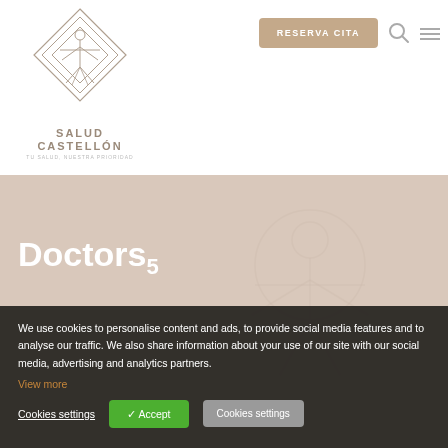[Figure (logo): Salud Castellón logo with Vitruvian man figure inside nested diamond shapes]
SALUD
CASTELLÓN
TU SALUD, NUESTRA PRIORIDAD
RESERVA CITA
[Figure (infographic): Hero banner with beige/tan background and faint Vitruvian man watermark]
Doctors5
We use cookies to personalise content and ads, to provide social media features and to analyse our traffic. We also share information about your use of our site with our social media, advertising and analytics partners.
View more
Cookies settings
✓ Accept
Cookies settings